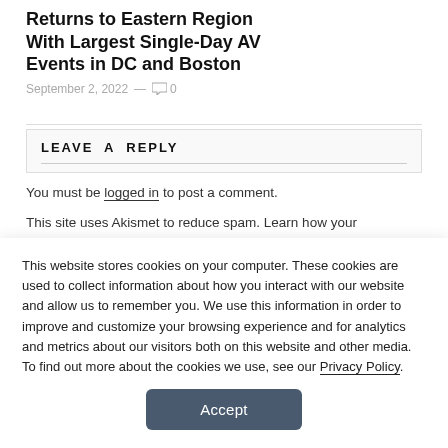Returns to Eastern Region With Largest Single-Day AV Events in DC and Boston
September 2, 2022 — 0
LEAVE A REPLY
You must be logged in to post a comment.
This site uses Akismet to reduce spam. Learn how your
This website stores cookies on your computer. These cookies are used to collect information about how you interact with our website and allow us to remember you. We use this information in order to improve and customize your browsing experience and for analytics and metrics about our visitors both on this website and other media. To find out more about the cookies we use, see our Privacy Policy.
Accept